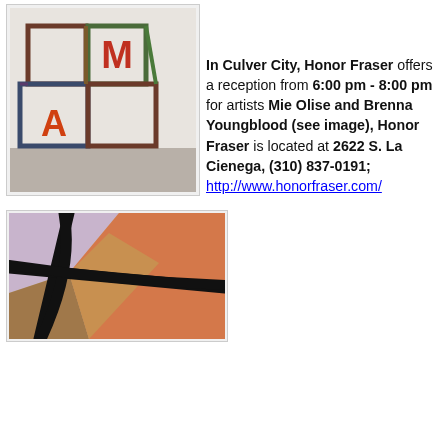[Figure (photo): Photograph of a metal sculpture with letter forms A and M inside cubic metal frames, on a gallery floor.]
In Culver City, Honor Fraser offers a reception from 6:00 pm - 8:00 pm for artists Mie Olise and Brenna Youngblood (see image), Honor Fraser is located at 2622 S. La Cienega, (310) 837-0191; http://www.honorfraser.com/
[Figure (photo): Photograph of an abstract painting with thick black lines dividing sections of lavender, orange, and earth-toned colors.]